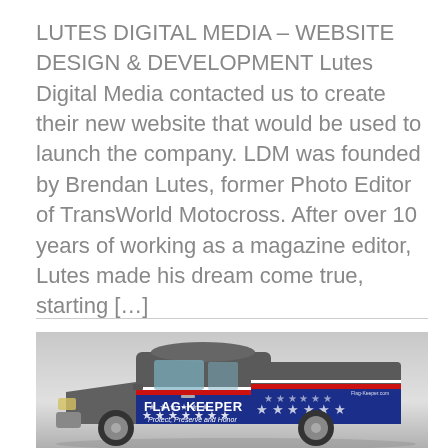LUTES DIGITAL MEDIA – WEBSITE DESIGN & DEVELOPMENT Lutes Digital Media contacted us to create their new website that would be used to launch the company. LDM was founded by Brendan Lutes, former Photo Editor of TransWorld Motocross. After over 10 years of working as a magazine editor, Lutes made his dream come true, starting […]
[Figure (photo): Side view of a pickup truck with a patriotic red, white and blue American flag wrap on the door and bed area. The wrap reads 'FLAG-KEEPER Protect, Preserve and Honor' with stars on a blue background and red stripes. The truck is gray/dark colored, shown against a light gray gradient background.]